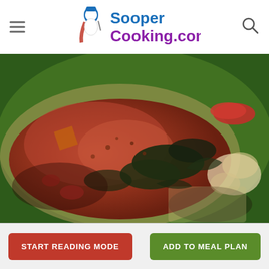SooperCooking.com
[Figure (photo): Close-up photo of a cooked dish with a rich brown/reddish peanut or tomato sauce poured over meat and dark leafy greens (kale/spinach), with vegetables including red peppers and what appears to be cauliflower on the side, served on a green plate or banana leaf.]
START READING MODE
ADD TO MEAL PLAN